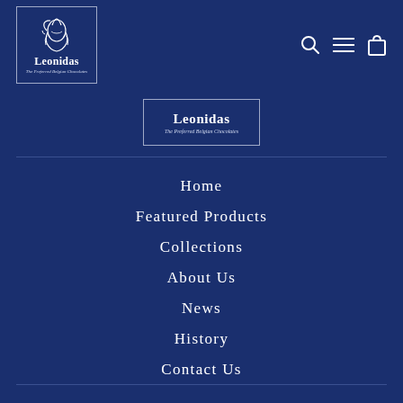[Figure (logo): Leonidas Belgian Chocolates logo - white line drawing of a helmeted warrior head with brand name and tagline in white on dark navy blue background, inside a rectangular border]
[Figure (logo): Secondary Leonidas logo centered in page - bold Leonidas text with italic tagline 'The Preferred Belgian Chocolates' inside a rectangular border]
Home
Featured Products
Collections
About Us
News
History
Contact Us